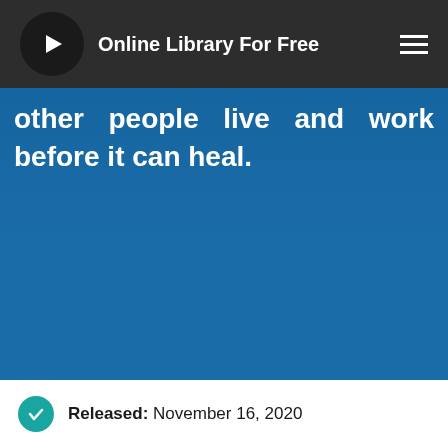Online Library For Free
other people live and work before it can heal.
Read NOW
DOWNLOAD
Released: November 16, 2020